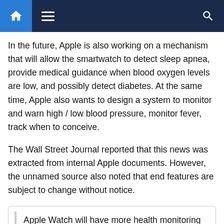Navigation bar with home, menu, and search icons
In the future, Apple is also working on a mechanism that will allow the smartwatch to detect sleep apnea, provide medical guidance when blood oxygen levels are low, and possibly detect diabetes. At the same time, Apple also wants to design a system to monitor and warn high / low blood pressure, monitor fever, track when to conceive.
The Wall Street Journal reported that this news was extracted from internal Apple documents. However, the unnamed source also noted that end features are subject to change without notice.
Apple Watch will have more health monitoring features in the future, besides monitoring blood oxygen levels.
However, rumors about a range of health tracking features